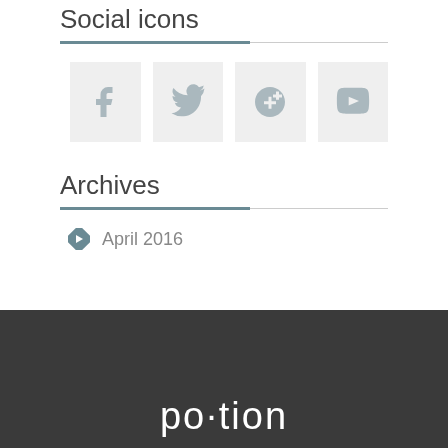Social icons
[Figure (infographic): Four social media icon boxes: Facebook (f), Twitter (bird), Google+ (g+), YouTube (tube logo), each in a light grey square tile]
Archives
April 2016
[Figure (logo): po·tion logo in white text on dark grey footer background]